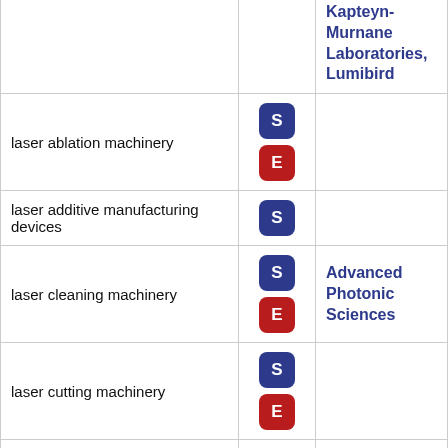| Item | Type | Companies |
| --- | --- | --- |
| (continued from above) | S, E | Kapteyn-Murnane Laboratories, Lumibird |
| laser ablation machinery | S, E |  |
| laser additive manufacturing devices | S |  |
| laser cleaning machinery | S, E | Advanced Photonic Sciences |
| laser cutting machinery | S, E |  |
| laser drilling machinery | S, (E partial) |  |